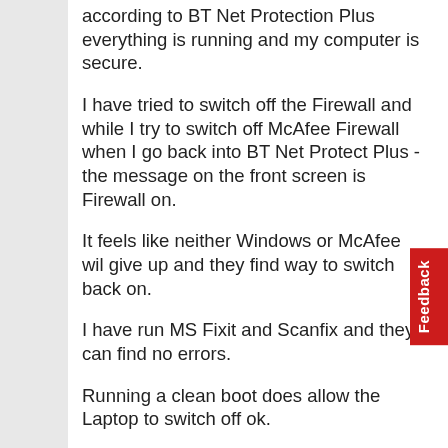according to BT Net Protection Plus everything is running and my computer is secure.
I have tried to switch off the Firewall and while I try to switch off McAfee Firewall when I go back into BT Net Protect Plus - the message on the front screen is Firewall on.
It feels like neither Windows or McAfee wil give up and they find way to switch back on.
I have run MS Fixit and Scanfix and they can find no errors.
Running a clean boot does allow the Laptop to switch off ok.
I have tried switching off and on the McAfee plugins - but it doesn't